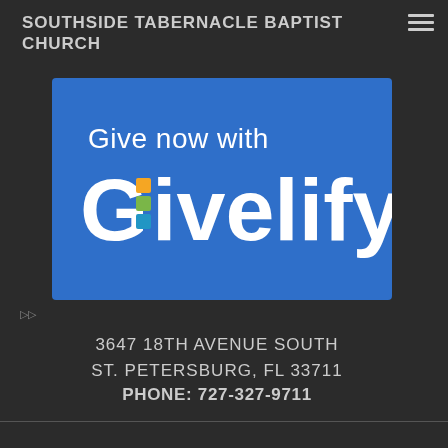SOUTHSIDE TABERNACLE BAPTIST CHURCH
[Figure (logo): Givelify logo on blue background with text 'Give now with Givelify'. The G in Givelify has colored square dots (orange, green, blue) replacing the interior gap.]
3647 18TH AVENUE SOUTH
ST. PETERSBURG, FL 33711
PHONE: 727-327-9711